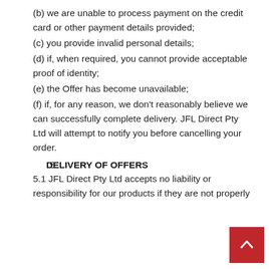(b) we are unable to process payment on the credit card or other payment details provided;
(c) you provide invalid personal details;
(d) if, when required, you cannot provide acceptable proof of identity;
(e) the Offer has become unavailable;
(f) if, for any reason, we don't reasonably believe we can successfully complete delivery. JFL Direct Pty Ltd will attempt to notify you before cancelling your order.
5. DELIVERY OF OFFERS
5.1 JFL Direct Pty Ltd accepts no liability or responsibility for our products if they are not properly